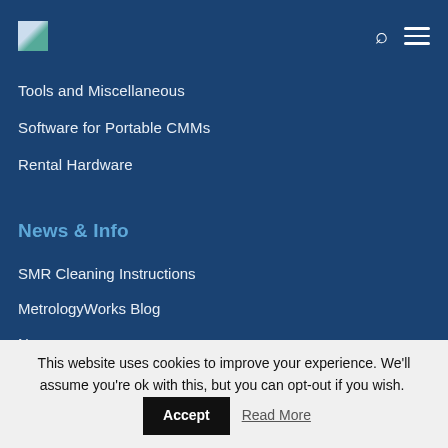[Figure (logo): Small logo icon in top left corner of navigation]
Tools and Miscellaneous
Software for Portable CMMs
Rental Hardware
News & Info
SMR Cleaning Instructions
MetrologyWorks Blog
News
Downloads
Trade Shows
Videos
This website uses cookies to improve your experience. We'll assume you're ok with this, but you can opt-out if you wish. Accept Read More